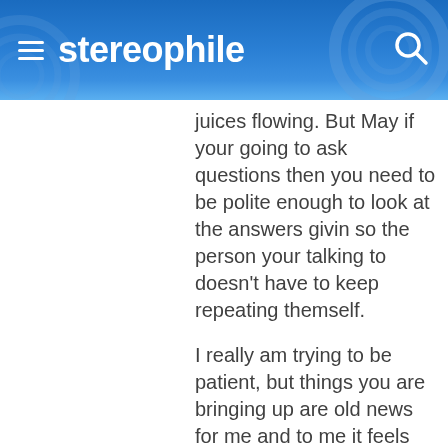stereophile
juices flowing. But May if your going to ask questions then you need to be polite enough to look at the answers givin so the person your talking to doesn't have to keep repeating themself.
I really am trying to be patient, but things you are bringing up are old news for me and to me it feels like I'm putting you down by saying that, and I don't like feeling this way toward you or anyone. But please